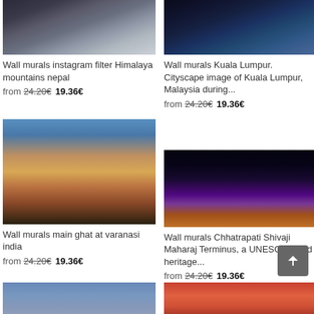[Figure (photo): Himalaya mountains nepal with dark rocky peaks and snow]
Wall murals instagram filter Himalaya mountains nepal
from 24.20€ 19.36€
[Figure (photo): Aerial cityscape of Kuala Lumpur Malaysia at night]
Wall murals Kuala Lumpur. Cityscape image of Kuala Lumpur, Malaysia during...
from 24.20€ 19.36€
[Figure (photo): Main ghat at Varanasi India with colorful buildings and boats]
Wall murals main ghat at varanasi india
from 24.20€ 19.36€
[Figure (photo): Chhatrapati Shivaji Maharaj Terminus illuminated at night with purple and gold lights]
Wall murals Chhatrapati Shivaji Maharaj Terminus, a UNESCO world heritage...
from 24.20€ 19.36€
[Figure (photo): City tower/skyscraper against blue sky]
[Figure (photo): Colorful market scene with people in bright clothing]